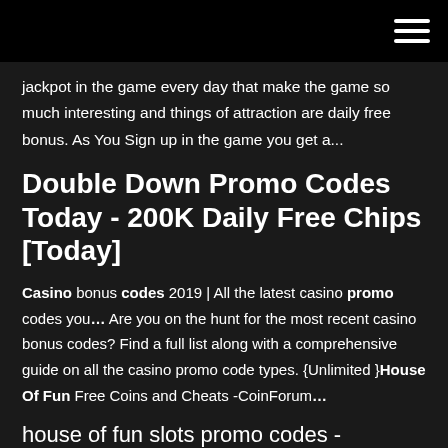[hamburger menu icon]
jackpot in the game every day that make the game so much interesting and things of attraction are daily free bonus. As You Sign up in the game you get a...
Double Down Promo Codes Today - 200K Daily Free Chips [Today]
Casino bonus codes 2019 | All the latest casino promo codes you... Are you on the hunt for the most recent casino bonus codes? Find a full list along with a comprehensive guide on all the casino promo code types. {Unlimited }House Of Fun Free Coins and Cheats -CoinForum...
house of fun slots promo codes - casinobonuswinonline.rocks